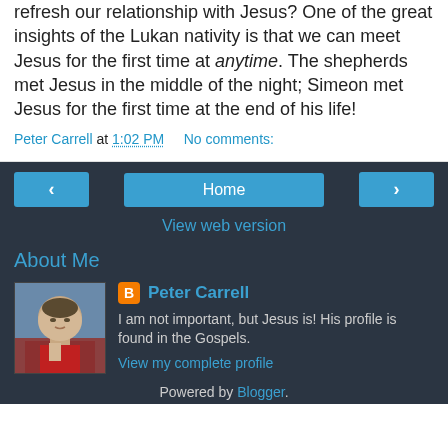refresh our relationship with Jesus? One of the great insights of the Lukan nativity is that we can meet Jesus for the first time at anytime. The shepherds met Jesus in the middle of the night; Simeon met Jesus for the first time at the end of his life!
Peter Carrell at 1:02 PM   No comments:
‹
Home
›
View web version
About Me
[Figure (photo): Profile photo of Peter Carrell - a man in a red clerical collar]
Peter Carrell
I am not important, but Jesus is! His profile is found in the Gospels.
View my complete profile
Powered by Blogger.